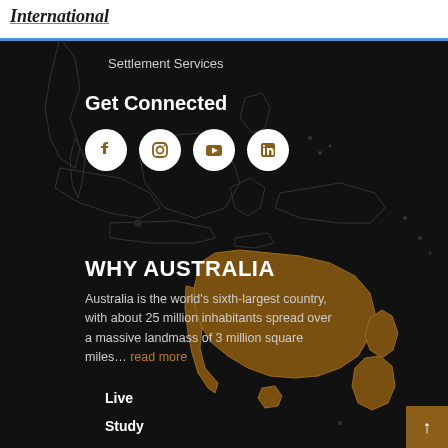International
Settlement Services
Get Connected
[Figure (illustration): Dark map background showing Asia-Pacific region with Australia and New Zealand highlighted in golden-brown color, surrounding countries shown as dark outlines]
WHY AUSTRALIA
Australia is the world's sixth-largest country, with about 25 million inhabitants spread over a massive landmass of 3 million square miles… read more
Live
Study
Work
Investment
Discover